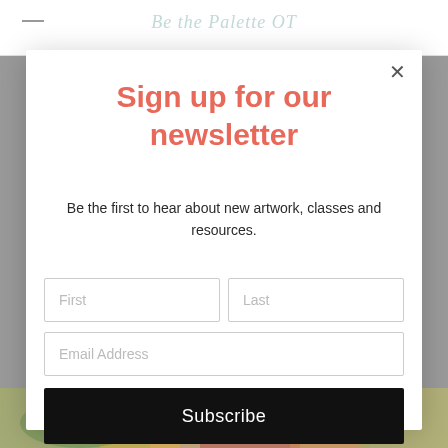Sign up for our newsletter
Be the first to hear about new artwork, classes and resources.
First
Last
Email Address
Subscribe